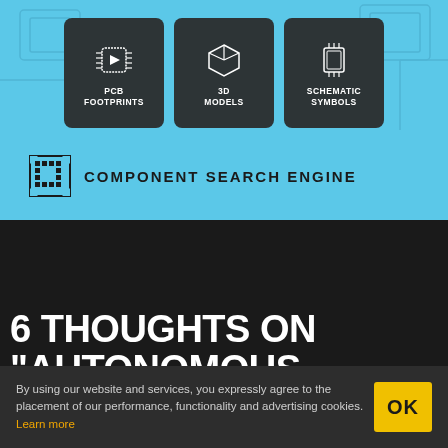[Figure (infographic): Component Search Engine banner on light blue background with three dark rounded cards showing PCB Footprints, 3D Models, and Schematic Symbols icons and labels, plus Component Search Engine logo at the bottom]
6 THOUGHTS ON “AUTONOMOUS MUSICAL
By using our website and services, you expressly agree to the placement of our performance, functionality and advertising cookies. Learn more